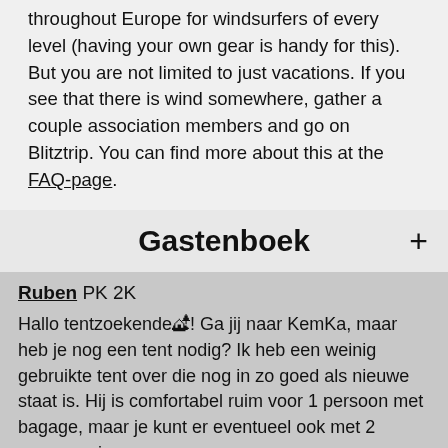throughout Europe for windsurfers of every level (having your own gear is handy for this). But you are not limited to just vacations. If you see that there is wind somewhere, gather a couple association members and go on Blitztrip. You can find more about this at the FAQ-page.
Gastenboek
Ruben  PK 2K
Hallo tentzoekende! Ga jij naar KemKa, maar heb je nog een tent nodig? Ik heb een weinig gebruikte tent over die nog in zo goed als nieuwe staat is. Hij is comfortabel ruim voor 1 persoon met bagage, maar je kunt er eventueel ook met 2 personen in